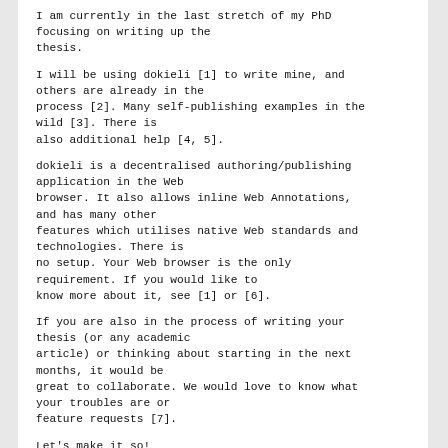I am currently in the last stretch of my PhD focusing on writing up the thesis.
I will be using dokieli [1] to write mine, and others are already in the process [2]. Many self-publishing examples in the wild [3]. There is also additional help [4, 5].
dokieli is a decentralised authoring/publishing application in the Web browser. It also allows inline Web Annotations, and has many other features which utilises native Web standards and technologies. There is no setup. Your Web browser is the only requirement. If you would like to know more about it, see [1] or [6].
If you are also in the process of writing your thesis (or any academic article) or thinking about starting in the next months, it would be great to collaborate. We would love to know what your troubles are or feature requests [7].
Let's make it so!